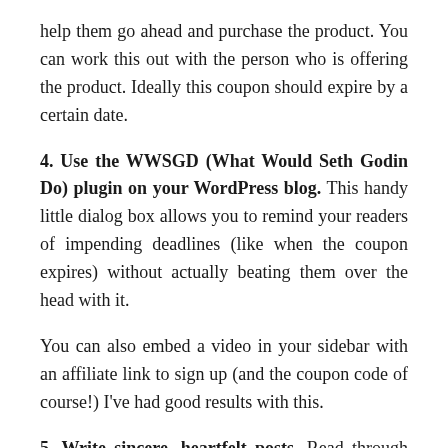help them go ahead and purchase the product. You can work this out with the person who is offering the product. Ideally this coupon should expire by a certain date.
4. Use the WWSGD (What Would Seth Godin Do) plugin on your WordPress blog. This handy little dialog box allows you to remind your readers of impending deadlines (like when the coupon expires) without actually beating them over the head with it.
You can also embed a video in your sidebar with an affiliate link to sign up (and the coupon code of course!) I've had good results with this.
5. Write sincere, heartfelt posts. Read through the